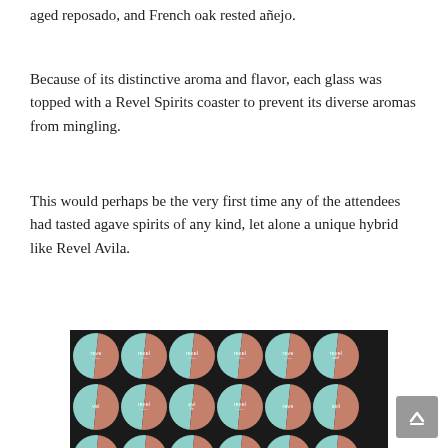aged reposado, and French oak rested añejo.
Because of its distinctive aroma and flavor, each glass was topped with a Revel Spirits coaster to prevent its diverse aromas from mingling.
This would perhaps be the very first time any of the attendees had tasted agave spirits of any kind, let alone a unique hybrid like Revel Avila.
[Figure (photo): A large collection of circular Revel Spirits coasters arranged in rows on a dark background. Each coaster has a split design with teal and terracotta colors and the 'revel' brand name printed on them.]